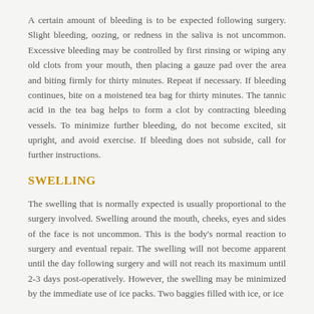A certain amount of bleeding is to be expected following surgery. Slight bleeding, oozing, or redness in the saliva is not uncommon. Excessive bleeding may be controlled by first rinsing or wiping any old clots from your mouth, then placing a gauze pad over the area and biting firmly for thirty minutes. Repeat if necessary. If bleeding continues, bite on a moistened tea bag for thirty minutes. The tannic acid in the tea bag helps to form a clot by contracting bleeding vessels. To minimize further bleeding, do not become excited, sit upright, and avoid exercise. If bleeding does not subside, call for further instructions.
SWELLING
The swelling that is normally expected is usually proportional to the surgery involved. Swelling around the mouth, cheeks, eyes and sides of the face is not uncommon. This is the body's normal reaction to surgery and eventual repair. The swelling will not become apparent until the day following surgery and will not reach its maximum until 2-3 days post-operatively. However, the swelling may be minimized by the immediate use of ice packs. Two baggies filled with ice, or ice